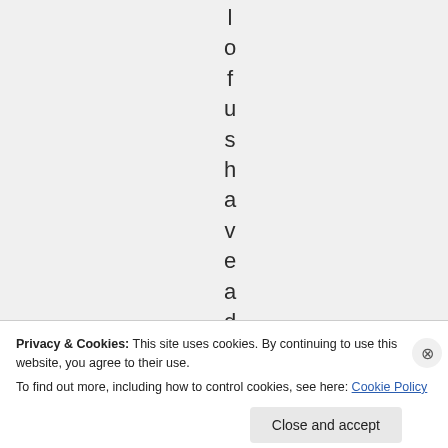l o f u s h a v e a d
Privacy & Cookies: This site uses cookies. By continuing to use this website, you agree to their use.
To find out more, including how to control cookies, see here: Cookie Policy
Close and accept